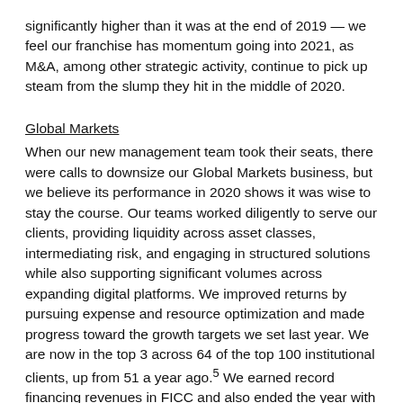significantly higher than it was at the end of 2019 — we feel our franchise has momentum going into 2021, as M&A, among other strategic activity, continue to pick up steam from the slump they hit in the middle of 2020.
Global Markets
When our new management team took their seats, there were calls to downsize our Global Markets business, but we believe its performance in 2020 shows it was wise to stay the course. Our teams worked diligently to serve our clients, providing liquidity across asset classes, intermediating risk, and engaging in structured solutions while also supporting significant volumes across expanding digital platforms. We improved returns by pursuing expense and resource optimization and made progress toward the growth targets we set last year. We are now in the top 3 across 64 of the top 100 institutional clients, up from 51 a year ago.5 We earned record financing revenues in FICC and also ended the year with record balances in our prime services business.
Asset Management
Our reputation as a leading global asset manager served us